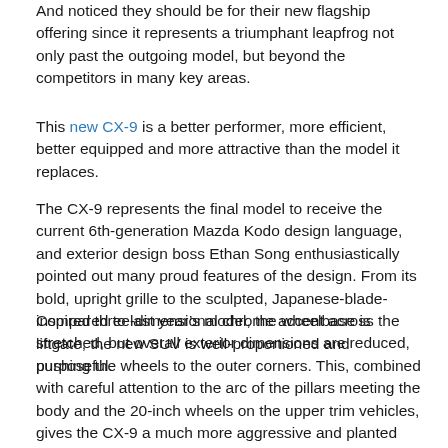And noticed they should be for their new flagship offering since it represents a triumphant leapfrog not only past the outgoing model, but beyond the competitors in many key areas.
This new CX-9 is a better performer, more efficient, better equipped and more attractive than the model it replaces.
The CX-9 represents the final model to receive the current 6th-generation Mazda Kodo design language, and exterior design boss Ethan Song enthusiastically pointed out many proud features of the design. From its bold, upright grille to the sculpted, Japanese-blade-inspired three-dimensional chrome accent across the liftgate, the new SUV is well-proportioned and purposeful.
Compared to last year’s model, the wheelbase is stretched, but overall exterior dimensions are reduced, pushing the wheels to the outer corners. This, combined with careful attention to the arc of the pillars meeting the body and the 20-inch wheels on the upper trim vehicles, gives the CX-9 a much more aggressive and planted stance than before, and than most of its competitors.
We drove two different trim levels, a volume-leader GS-L (with niceties like leather seating, power moonroof, power liftgate, 8-